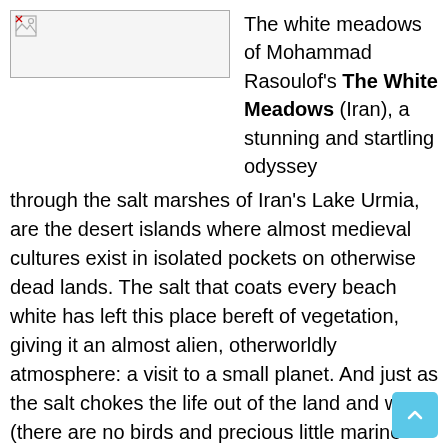[Figure (photo): Broken image placeholder thumbnail in upper left area]
The white meadows of Mohammad Rasoulof's The White Meadows (Iran), a stunning and startling odyssey through the salt marshes of Iran's Lake Urmia, are the desert islands where almost medieval cultures exist in isolated pockets on otherwise dead lands. The salt that coats every beach white has left this place bereft of vegetation, giving it an almost alien, otherworldly atmosphere: a visit to a small planet. And just as the salt chokes the life out of the land and water (there are no birds and precious little marine life), so does it starve the respective cultures, cut off from the rest of the world but for a boatman, Rahmat (Hasan Pourshirazi), the only outsider welcome in these lands. He is the "tear collector,"